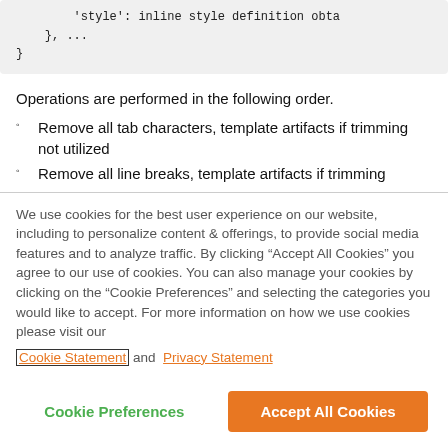'style': inline style definition obta
    }, ...
}
Operations are performed in the following order.
Remove all tab characters, template artifacts if trimming not utilized
Remove all line breaks, template artifacts if trimming
We use cookies for the best user experience on our website, including to personalize content & offerings, to provide social media features and to analyze traffic. By clicking “Accept All Cookies” you agree to our use of cookies. You can also manage your cookies by clicking on the “Cookie Preferences” and selecting the categories you would like to accept. For more information on how we use cookies please visit our Cookie Statement and Privacy Statement
Cookie Preferences
Accept All Cookies